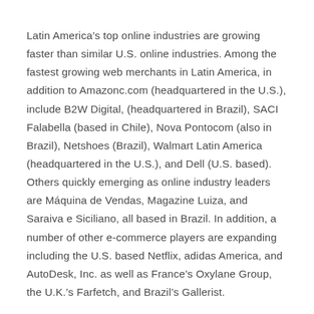Latin America's top online industries are growing faster than similar U.S. online industries. Among the fastest growing web merchants in Latin America, in addition to Amazonc.com (headquartered in the U.S.), include B2W Digital, (headquartered in Brazil), SACI Falabella (based in Chile), Nova Pontocom (also in Brazil), Netshoes (Brazil), Walmart Latin America (headquartered in the U.S.), and Dell (U.S. based). Others quickly emerging as online industry leaders are Máquina de Vendas, Magazine Luiza, and Saraiva e Siciliano, all based in Brazil. In addition, a number of other e-commerce players are expanding including the U.S. based Netflix, adidas America, and AutoDesk, Inc. as well as France's Oxylane Group, the U.K.'s Farfetch, and Brazil's Gallerist.